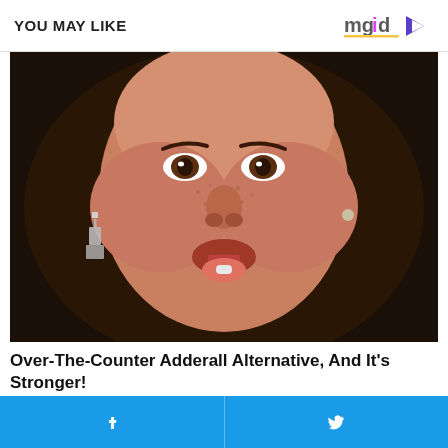YOU MAY LIKE
[Figure (photo): Close-up photo of a young woman with freckles, curly dark hair, silver dangle earrings, sticking out her tongue with a white pill on it, against a dark background.]
Over-The-Counter Adderall Alternative, And It's Stronger!
BRAIN BOOSTER
[Figure (photo): Partially visible bottom thumbnails: left shows a blonde woman, right shows a partially visible image.]
Facebook share | Twitter share